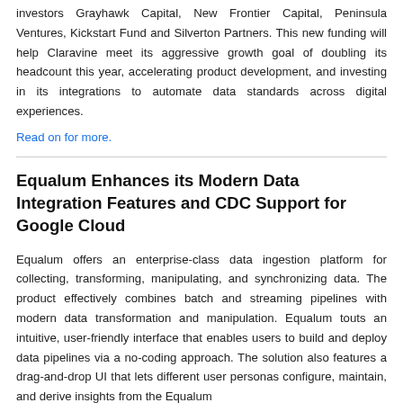investors Grayhawk Capital, New Frontier Capital, Peninsula Ventures, Kickstart Fund and Silverton Partners. This new funding will help Claravine meet its aggressive growth goal of doubling its headcount this year, accelerating product development, and investing in its integrations to automate data standards across digital experiences.
Read on for more.
Equalum Enhances its Modern Data Integration Features and CDC Support for Google Cloud
Equalum offers an enterprise-class data ingestion platform for collecting, transforming, manipulating, and synchronizing data. The product effectively combines batch and streaming pipelines with modern data transformation and manipulation. Equalum touts an intuitive, user-friendly interface that enables users to build and deploy data pipelines via a no-coding approach. The solution also features a drag-and-drop UI that lets different user personas configure, maintain, and derive insights from the Equalum